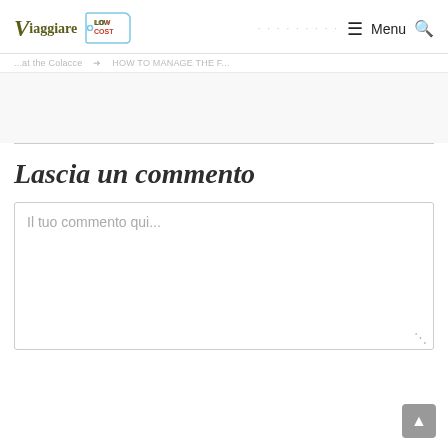Viaggiare Low Cost — Menu
...at the Colacce   HOW TO MANAGE THE F...
Lascia un commento
Il tuo commento qui...